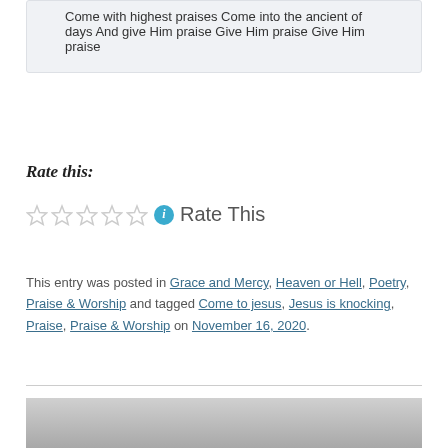Come with highest praises
Come into the ancient of days
And give Him praise
Give Him praise
Give Him praise
Rate this:
Rate This
This entry was posted in Grace and Mercy, Heaven or Hell, Poetry, Praise & Worship and tagged Come to jesus, Jesus is knocking, Praise, Praise & Worship on November 16, 2020.
[Figure (photo): Partial image visible at the bottom of the page, appears to be a cross or religious image.]